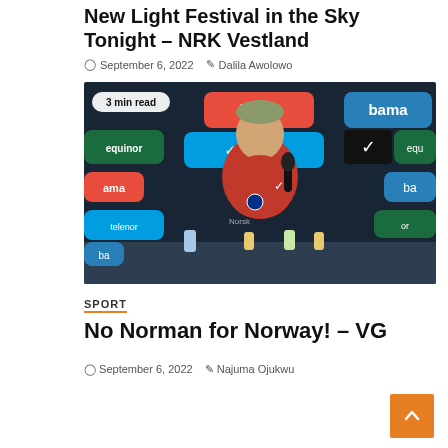New Light Festival in the Sky Tonight – NRK Vestland
September 6, 2022   Dalila Awolowo
[Figure (photo): Young male footballer in red Norway national team jersey sitting at a press conference table with sponsor logos (bama, telenor, equinor, Nike) in the background. A microphone is visible. Caption badge reads '3 min read'.]
SPORT
No Norman for Norway! – VG
September 6, 2022   Najuma Ojukwu